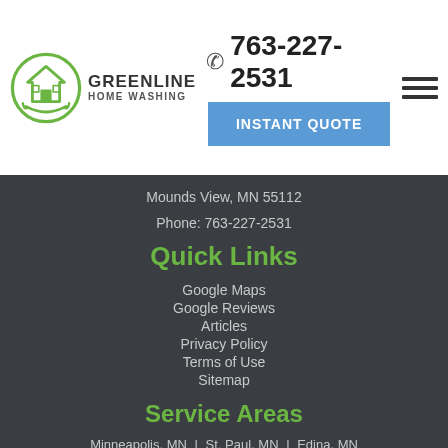[Figure (logo): GreenLine Home Washing logo — circular green icon with a house and hands, text GREENLINE HOME WASHING]
763-227-2531
INSTANT QUOTE
Mounds View, MN 55112
Phone: 763-227-2531
Quick Links
Google Maps
Google Reviews
Articles
Privacy Policy
Terms of Use
Sitemap
Service Areas
Minneapolis, MN | St. Paul, MN | Edina, MN | Woodbury, MN | Minnetonka, MN | Wayzata,